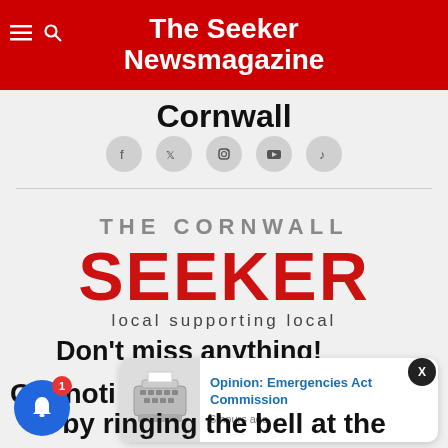The Seeker Newsmagazine Cornwall
[Figure (logo): The Cornwall Seeker logo — red art-deco style text reading THE CORNWALL SEEKER with tagline 'local supporting local']
Don't miss anything!
Get notifications
by ringing the bell at the
[Figure (screenshot): Push notification popup showing 'Opinion: Emergencies Act Commission' with a typewriter image, posted 6 hours ago]